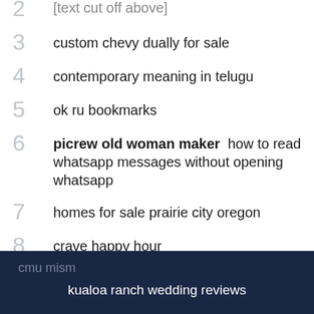2  [truncated item above]
3  custom chevy dually for sale
4  contemporary meaning in telugu
5  ok ru bookmarks
6  picrew old woman maker  how to read whatsapp messages without opening whatsapp
7  homes for sale prairie city oregon
8  crave happy hour
cmu mism
kualoa ranch wedding reviews